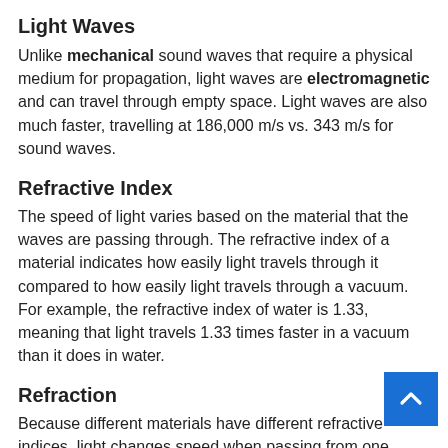Light Waves
Unlike mechanical sound waves that require a physical medium for propagation, light waves are electromagnetic and can travel through empty space. Light waves are also much faster, travelling at 186,000 m/s vs. 343 m/s for sound waves.
Refractive Index
The speed of light varies based on the material that the waves are passing through. The refractive index of a material indicates how easily light travels through it compared to how easily light travels through a vacuum. For example, the refractive index of water is 1.33, meaning that light travels 1.33 times faster in a vacuum than it does in water.
Refraction
Because different materials have different refractive indices, light changes speed when passing from one material to another. This causes the light to bend.